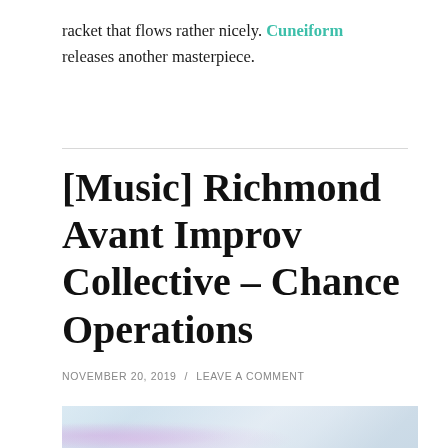racket that flows rather nicely. Cuneiform releases another masterpiece.
[Music] Richmond Avant Improv Collective – Chance Operations
NOVEMBER 20, 2019 / LEAVE A COMMENT
[Figure (photo): Abstract photograph with soft pink and purple light flares over a blurred grey and blue background, resembling water or mist.]